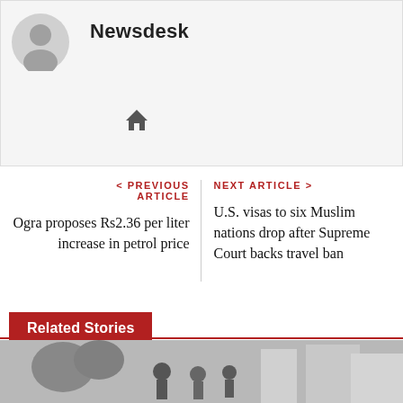[Figure (illustration): Circular avatar/profile placeholder icon with grey silhouette of a person on light grey background]
Newsdesk
[Figure (illustration): Home icon (house symbol) in dark grey]
< PREVIOUS ARTICLE
Ogra proposes Rs2.36 per liter increase in petrol price
NEXT ARTICLE >
U.S. visas to six Muslim nations drop after Supreme Court backs travel ban
Related Stories
[Figure (photo): Black and white photo showing people in winter outdoor setting with buildings and trees in background]